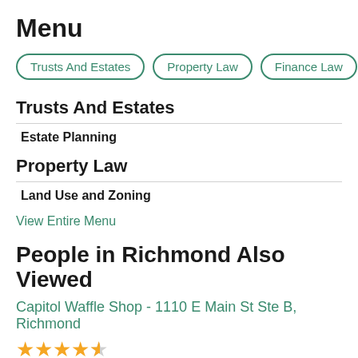Menu
Trusts And Estates
Property Law
Finance Law
Business A
Trusts And Estates
Estate Planning
Property Law
Land Use and Zoning
View Entire Menu
People in Richmond Also Viewed
Capitol Waffle Shop - 1110 E Main St Ste B, Richmond
★★★★½
American, Waffles